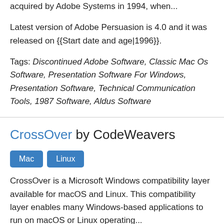acquired by Adobe Systems in 1994, when...
Latest version of Adobe Persuasion is 4.0 and it was released on {{Start date and age|1996}}.
Tags: Discontinued Adobe Software, Classic Mac Os Software, Presentation Software For Windows, Presentation Software, Technical Communication Tools, 1987 Software, Aldus Software
CrossOver by CodeWeavers
Mac  Linux
CrossOver is a Microsoft Windows compatibility layer available for macOS and Linux. This compatibility layer enables many Windows-based applications to run on macOS or Linux operating...
Latest version of CrossOver is 16.0.0 and it